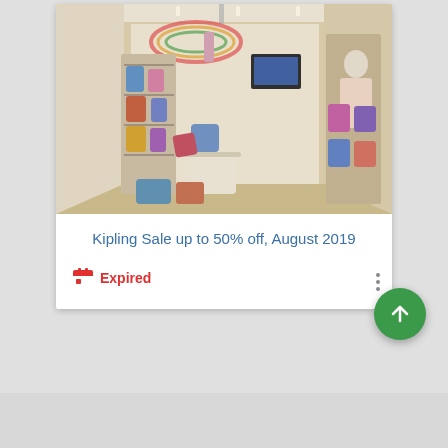[Figure (photo): Interior of a Kipling retail store showing colorful bags and accessories on display shelves and mannequins]
Kipling Sale up to 50% off, August 2019
Expired